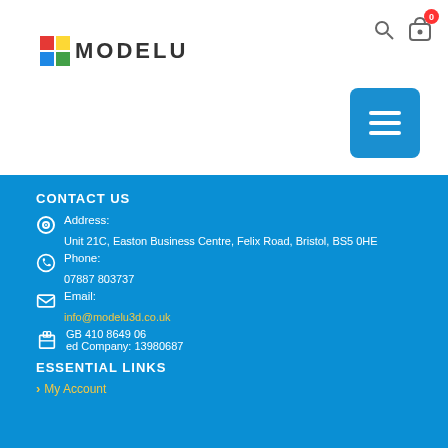[Figure (logo): Modelu logo with colorful square icon and bold text MODELU]
MODELU website header with search, cart (0), and hamburger menu button
CONTACT US
Address: Unit 21C, Easton Business Centre, Felix Road, Bristol, BS5 0HE
Phone: 07887 803737
Email: info@modelu3d.co.uk
VAT: GB 410 8649 06
Registered Company: 13980687
ESSENTIAL LINKS
My Account